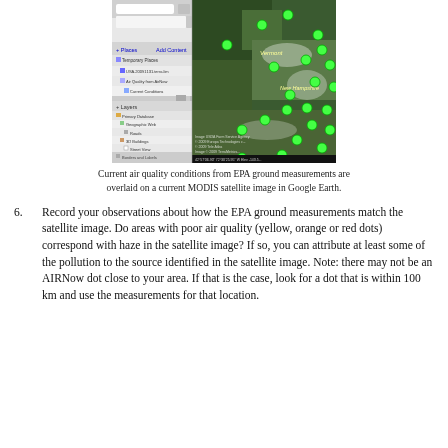[Figure (screenshot): Screenshot of Google Earth showing a MODIS satellite image of the northeastern US (Vermont, New Hampshire area) overlaid with green dots representing EPA AIRNow current air quality monitoring stations. The left panel shows Google Earth's Places and Layers sidebar.]
Current air quality conditions from EPA ground measurements are overlaid on a current MODIS satellite image in Google Earth.
Record your observations about how the EPA ground measurements match the satellite image. Do areas with poor air quality (yellow, orange or red dots) correspond with haze in the satellite image? If so, you can attribute at least some of the pollution to the source identified in the satellite image. Note: there may not be an AIRNow dot close to your area. If that is the case, look for a dot that is within 100 km and use the measurements for that location.